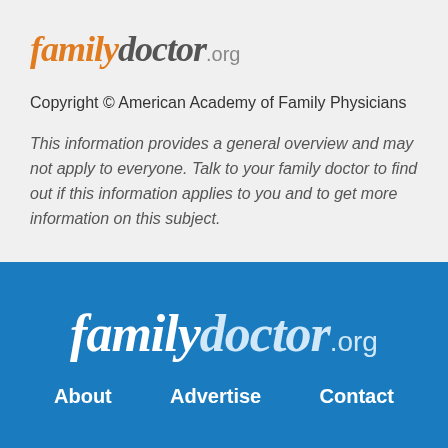[Figure (logo): familydoctor.org logo in orange and grey italic text with .org suffix]
Copyright © American Academy of Family Physicians
This information provides a general overview and may not apply to everyone. Talk to your family doctor to find out if this information applies to you and to get more information on this subject.
[Figure (logo): familydoctor.org logo in white text on blue background]
About   Advertise   Contact